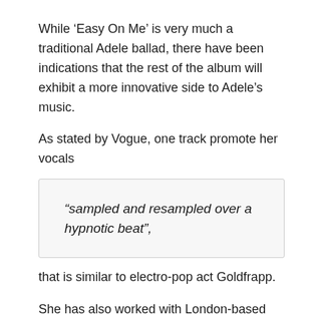While 'Easy On Me' is very much a traditional Adele ballad, there have been indications that the rest of the album will exhibit a more innovative side to Adele's music.
As stated by Vogue, one track promote her vocals
“sampled and resampled over a hypnotic beat”,
that is similar to electro-pop act Goldfrapp.
She has also worked with London-based producer Inflo – in charge of the retro R&B sounds of Michael Kiwanuka and Little Simz – all so with the Oscar-